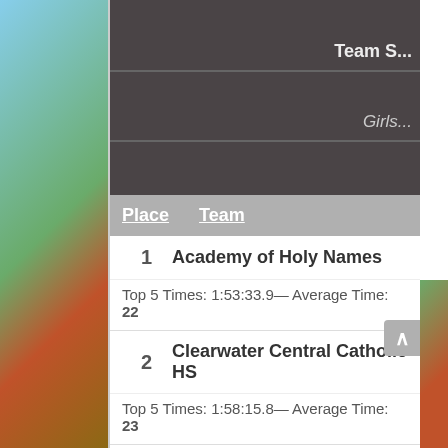Team S...
Girls...
| Place | Team |
| --- | --- |
| 1 | Academy of Holy Names | Top 5 Times: 1:53:33.9— Average Time: 22... |
| 2 | Clearwater Central Catholic HS | Top 5 Times: 1:58:15.8— Average Time: 23... |
| 3 | McKeel Academy | Top 5 Times: 1:59:25.7— Average Time: 23... |
| 4 | Alonso HS | Top 5 Times: 1:59:59.9— Average Time: 2... |